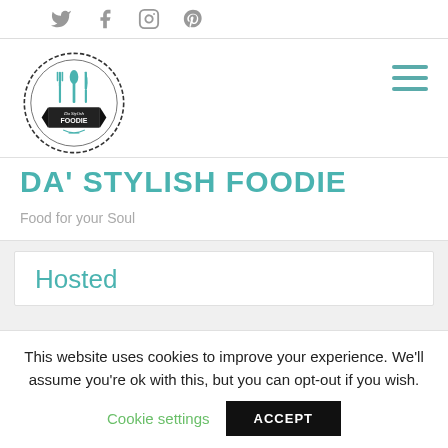Social icons: Twitter, Facebook, Instagram, Pinterest
[Figure (logo): Da' Stylish Foodie circular logo with fork, spoon, and knife utensils in teal, banner with text 'Da Stylish FOODIE']
DA' STYLISH FOODIE
Food for your Soul
Hosted
This website uses cookies to improve your experience. We'll assume you're ok with this, but you can opt-out if you wish.
Cookie settings  ACCEPT